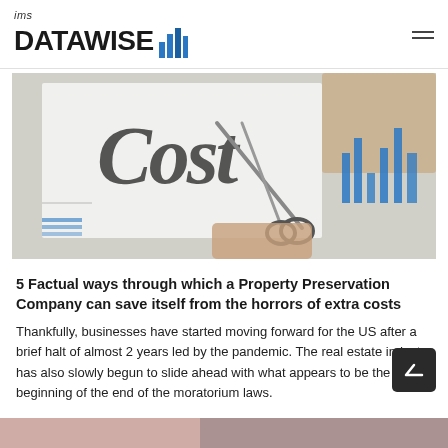ims DATAWISE
[Figure (photo): Hands holding a paper with the word 'Cost' written on it, with scissors cutting through it, and financial charts visible in the background.]
5 Factual ways through which a Property Preservation Company can save itself from the horrors of extra costs
Thankfully, businesses have started moving forward for the US after a brief halt of almost 2 years led by the pandemic. The real estate industry has also slowly begun to slide ahead with what appears to be the beginning of the end of the moratorium laws.